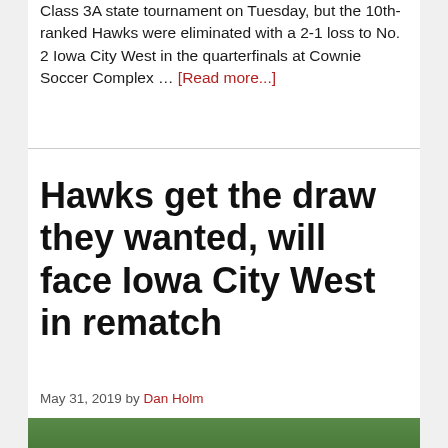Class 3A state tournament on Tuesday, but the 10th-ranked Hawks were eliminated with a 2-1 loss to No. 2 Iowa City West in the quarterfinals at Cownie Soccer Complex … [Read more...]
Hawks get the draw they wanted, will face Iowa City West in rematch
May 31, 2019 by Dan Holm
[Figure (photo): Soccer players on a field, partial view showing players in white and dark jerseys during a match]